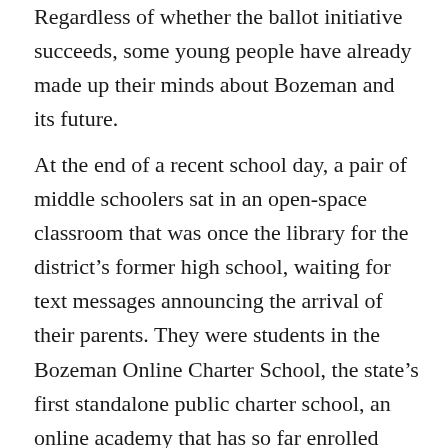Regardless of whether the ballot initiative succeeds, some young people have already made up their minds about Bozeman and its future.
At the end of a recent school day, a pair of middle schoolers sat in an open-space classroom that was once the library for the district's former high school, waiting for text messages announcing the arrival of their parents. They were students in the Bozeman Online Charter School, the state's first standalone public charter school, an online academy that has so far enrolled more than 100 kids, including some from families that preferred remote learning during Covid lockdowns. But the middle schoolers, in the building for in-person instruction or help on assignments, had their own reasons for wanting to